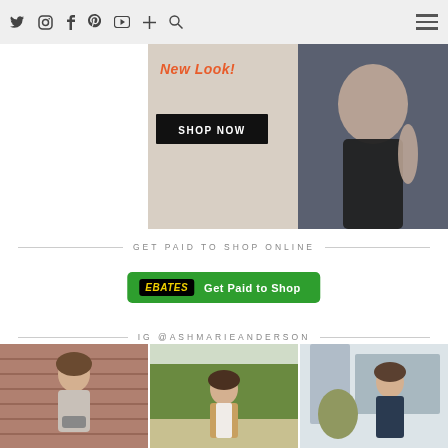Twitter Instagram Facebook Pinterest YouTube + Search | Menu
[Figure (photo): Fashion banner showing a woman in black pants and pink crop top with 'New Look' text and a 'SHOP NOW' black button]
GET PAID TO SHOP ONLINE
[Figure (logo): Ebates 'Get Paid to Shop' green button with Ebates logo in black with yellow text]
IG @ASHMARIEANDERSON
[Figure (photo): Three Instagram photos of a woman in various outfits: brick wall background, outdoor green setting, and indoor home setting]